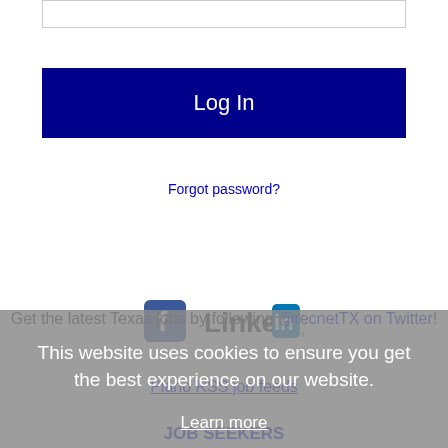[Figure (screenshot): Empty input text box at top of login form]
[Figure (screenshot): Log In button, dark navy blue background with white text]
Forgot password?
[Figure (logo): Facebook logo icon and LinkedIn logo icon side by side]
Get the latest Texas jobs by following @recnetTX on Twitter!
Plano RSS job feeds
This website uses cookies to ensure you get the best experience on our website.
Learn more
Got it!
JOB SEEKERS